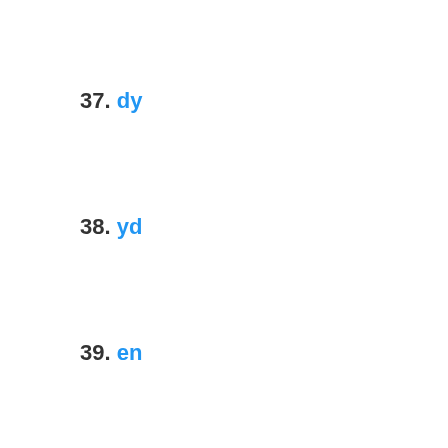37. dy
38. yd
39. en
40. ne
41. er
42. re
43. ey
44. ye